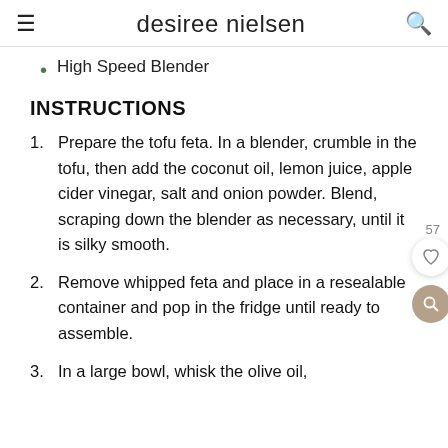desiree nielsen
High Speed Blender
INSTRUCTIONS
1. Prepare the tofu feta. In a blender, crumble in the tofu, then add the coconut oil, lemon juice, apple cider vinegar, salt and onion powder. Blend, scraping down the blender as necessary, until it is silky smooth.
2. Remove whipped feta and place in a resealable container and pop in the fridge until ready to assemble.
3. In a large bowl, whisk the olive oil,